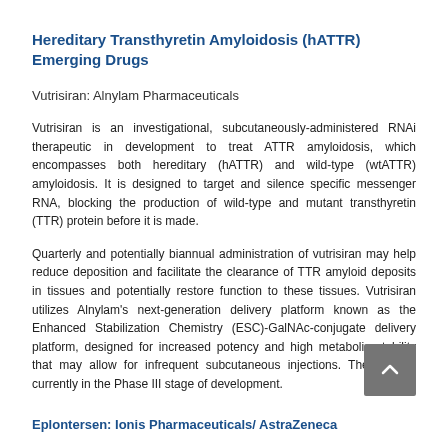Hereditary Transthyretin Amyloidosis (hATTR) Emerging Drugs
Vutrisiran: Alnylam Pharmaceuticals
Vutrisiran is an investigational, subcutaneously-administered RNAi therapeutic in development to treat ATTR amyloidosis, which encompasses both hereditary (hATTR) and wild-type (wtATTR) amyloidosis. It is designed to target and silence specific messenger RNA, blocking the production of wild-type and mutant transthyretin (TTR) protein before it is made.
Quarterly and potentially biannual administration of vutrisiran may help reduce deposition and facilitate the clearance of TTR amyloid deposits in tissues and potentially restore function to these tissues. Vutrisiran utilizes Alnylam's next-generation delivery platform known as the Enhanced Stabilization Chemistry (ESC)-GalNAc-conjugate delivery platform, designed for increased potency and high metabolic stability that may allow for infrequent subcutaneous injections. The drug is currently in the Phase III stage of development.
Eplontersen: Ionis Pharmaceuticals/ AstraZeneca